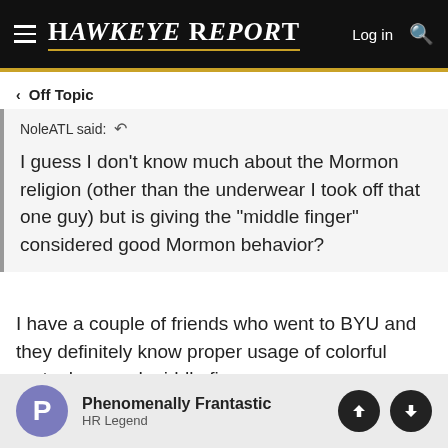Hawkeye Report — Log in (search)
< Off Topic
NoleATL said: ↺

I guess I don't know much about the Mormon religion (other than the underwear I took off that one guy) but is giving the "middle finger" considered good Mormon behavior?
I have a couple of friends who went to BYU and they definitely know proper usage of colorful metaphors and middle fingers.
Phenomenally Frantastic
HR Legend